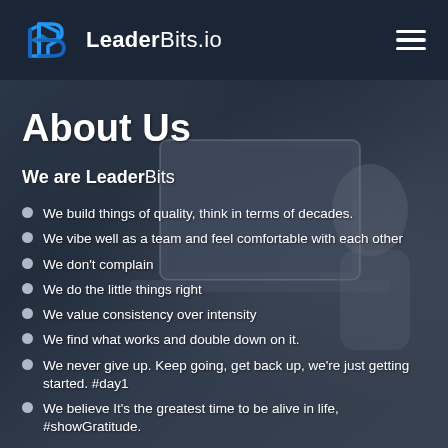LeaderBits.io
About Us
We are LeaderBits
We build things of quality, think in terms of decades.
We vibe well as a team and feel comfortable with each other
We don't complain
We do the little things right
We value consistency over intensity
We find what works and double down on it.
We never give up. Keep going, get back up, we're just getting started. #day1
We believe It's the greatest time to be alive in life, #showGratitude.